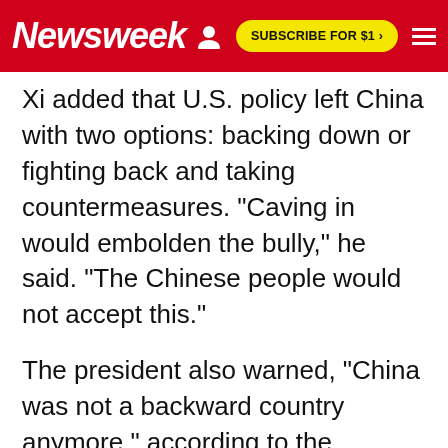Newsweek | SUBSCRIBE FOR $1 >
Xi added that U.S. policy left China with two options: backing down or fighting back and taking countermeasures. "Caving in would embolden the bully," he said. "The Chinese people would not accept this."
The president also warned, "China was not a backward country anymore," according to the diplomat who took notes of the meeting. Referring to the early 20th-century imperial dynasty that was dominated by foreign nations and eventually fell to domestic rebellion, Xi